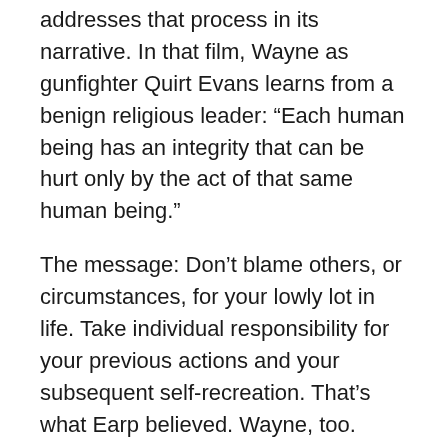addresses that process in its narrative. In that film, Wayne as gunfighter Quirt Evans learns from a benign religious leader: “Each human being has an integrity that can be hurt only by the act of that same human being.”
The message: Don’t blame others, or circumstances, for your lowly lot in life. Take individual responsibility for your previous actions and your subsequent self-recreation. That’s what Earp believed. Wayne, too.
Wayne’s great films, from Stagecoach to Angel and the Badman to The Searchers to Rio Bravo, depict (however unawares filmmakers